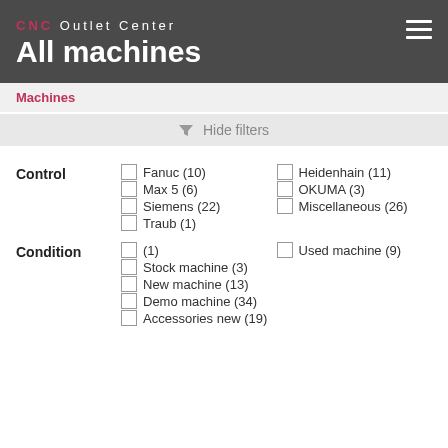CNC Outlet Center
All machines
Machines
Hide filters
Control
Fanuc (10)
Heidenhain (11)
Max 5 (6)
OKUMA (3)
Siemens (22)
Miscellaneous (26)
Traub (1)
Condition
(1)
Used machine (9)
Stock machine (3)
New machine (13)
Demo machine (34)
Accessories new (19)